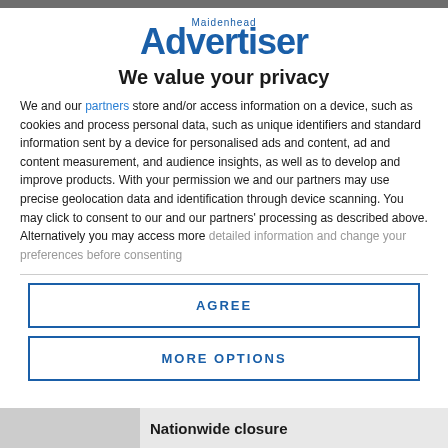[Figure (logo): Maidenhead Advertiser logo in blue]
We value your privacy
We and our partners store and/or access information on a device, such as cookies and process personal data, such as unique identifiers and standard information sent by a device for personalised ads and content, ad and content measurement, and audience insights, as well as to develop and improve products. With your permission we and our partners may use precise geolocation data and identification through device scanning. You may click to consent to our and our partners' processing as described above. Alternatively you may access more detailed information and change your preferences before consenting
AGREE
MORE OPTIONS
Nationwide closure